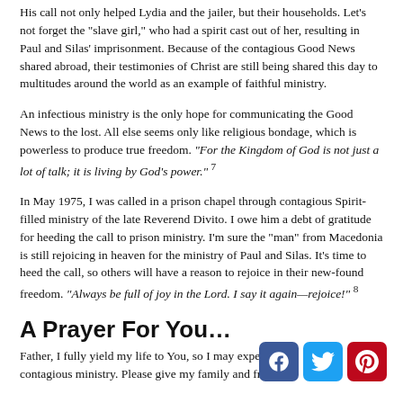His call not only helped Lydia and the jailer, but their households. Let’s not forget the “slave girl,” who had a spirit cast out of her, resulting in Paul and Silas’ imprisonment. Because of the contagious Good News shared abroad, their testimonies of Christ are still being shared this day to multitudes around the world as an example of faithful ministry.
An infectious ministry is the only hope for communicating the Good News to the lost. All else seems only like religious bondage, which is powerless to produce true freedom. “For the Kingdom of God is not just a lot of talk; it is living by God’s power.” 7
In May 1975, I was called in a prison chapel through contagious Spirit-filled ministry of the late Reverend Divito. I owe him a debt of gratitude for heeding the call to prison ministry. I’m sure the “man” from Macedonia is still rejoicing in heaven for the ministry of Paul and Silas. It’s time to heed the call, so others will have a reason to rejoice in their new-found freedom. “Always be full of joy in the Lord. I say it again—rejoice!” 8
A Prayer For You…
Father, I fully yield my life to You, so I may exper contagious ministry. Please give my family and fr…